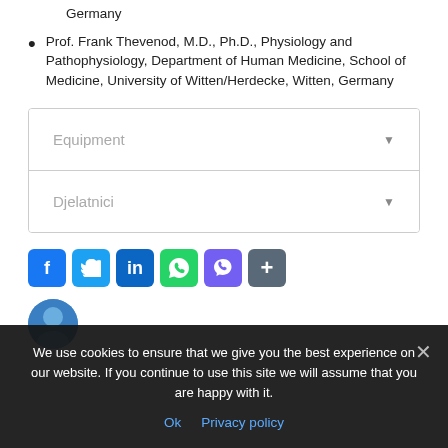Germany
Prof. Frank Thevenod, M.D., Ph.D., Physiology and Pathophysiology, Department of Human Medicine, School of Medicine, University of Witten/Herdecke, Witten, Germany
Equipment
Djelatnici
[Figure (infographic): Social media share buttons: Facebook, Twitter, LinkedIn, WhatsApp, Viber, Share]
[Figure (photo): Partially visible avatar/profile image]
We use cookies to ensure that we give you the best experience on our website. If you continue to use this site we will assume that you are happy with it.
Ok   Privacy policy